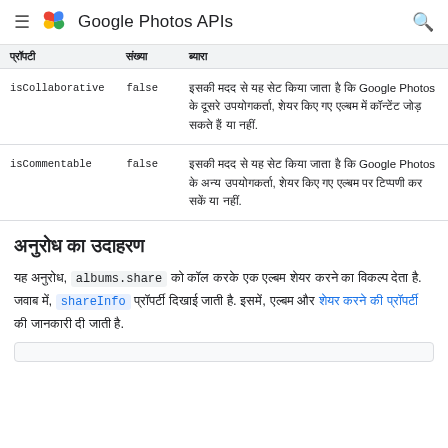Google Photos APIs
| प्रॉपटी | संख्या | ब्यारा |
| --- | --- | --- |
| isCollaborative | false | इसकी मदद से यह सेट किया जाता है कि Google Photos के दूसरे उपयोगकर्ता, शेयर किए गए एल्बम में कॉन्टेंट जोड़ सकते हैं या नहीं. |
| isCommentable | false | इसकी मदद से यह सेट किया जाता है कि Google Photos के अन्य उपयोगकर्ता, शेयर किए गए एल्बम पर टिप्पणी कर सकें या नहीं. |
अनुरोध का उदाहरण
यह अनुरोध, albums.share को कॉल करके एक एल्बम शेयर करने का विकल्प देता है. जवाब में, shareInfo प्रॉपर्टी दिखाई जाती है. इसमें, एल्बम और शेयर करने की प्रॉपर्टी की जानकारी दी जाती है.